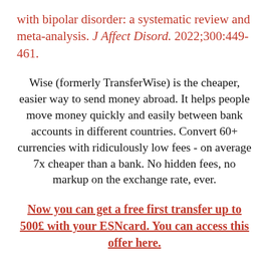with bipolar disorder: a systematic review and meta-analysis. J Affect Disord. 2022;300:449-461.
Wise (formerly TransferWise) is the cheaper, easier way to send money abroad. It helps people move money quickly and easily between bank accounts in different countries. Convert 60+ currencies with ridiculously low fees - on average 7x cheaper than a bank. No hidden fees, no markup on the exchange rate, ever.
Now you can get a free first transfer up to 500£ with your ESNcard. You can access this offer here.